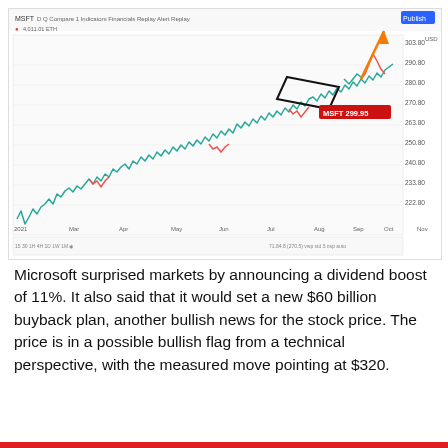[Figure (continuous-plot): TradingView stock chart screenshot of MSFT showing price action from early 2021 through November. The chart shows a rising candlestick/line chart with price levels from roughly 220 to 300+. An orange vertical arrow points upward at the right side of the chart, and a black parallelogram (bullish flag pattern) is drawn around the consolidation zone near the top around Sep-Oct. A red label shows 'MSFT 299.95'. Y-axis labels range from 220.80 to 303.80. X-axis labels show: 2021, Mar, Apr, May, Jun, Jul, Aug, Sep, Oct, Nov.]
Microsoft surprised markets by announcing a dividend boost of 11%. It also said that it would set a new $60 billion buyback plan, another bullish news for the stock price. The price is in a possible bullish flag from a technical perspective, with the measured move pointing at $320.